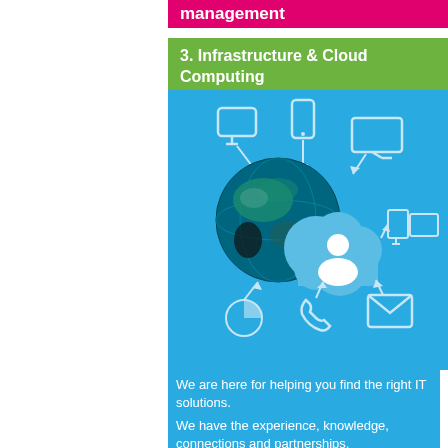management
3. Infrastructure & Cloud Computing
[Figure (illustration): Blue background illustration showing a globe/Earth overlapping with a blue cloud containing a person/user icon. Around the cloud and globe are various device and service icons: monitor, tablet, smartphone, desktop computer with monitor, pie chart, phone handset, envelope/email, all connected with arrows, suggesting cloud computing and infrastructure services.]
We are here for helping you find the right IT solutions.
We have the experience, knowledge, connections and partnerships.
You have your vision.
Together we can make it alive and